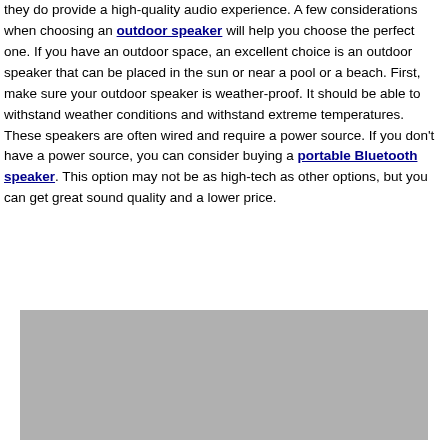they do provide a high-quality audio experience. A few considerations when choosing an outdoor speaker will help you choose the perfect one. If you have an outdoor space, an excellent choice is an outdoor speaker that can be placed in the sun or near a pool or a beach. First, make sure your outdoor speaker is weather-proof. It should be able to withstand weather conditions and withstand extreme temperatures. These speakers are often wired and require a power source. If you don't have a power source, you can consider buying a portable Bluetooth speaker. This option may not be as high-tech as other options, but you can get great sound quality and a lower price.
[Figure (photo): A gray rectangular placeholder image block below the text paragraph.]